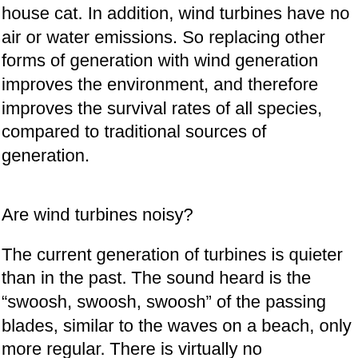house cat. In addition, wind turbines have no air or water emissions. So replacing other forms of generation with wind generation improves the environment, and therefore improves the survival rates of all species, compared to traditional sources of generation.
Are wind turbines noisy?
The current generation of turbines is quieter than in the past. The sound heard is the “swoosh, swoosh, swoosh” of the passing blades, similar to the waves on a beach, only more regular. There is virtually no mechanical sound from a modern wind turbine. You can carry on a conversation at the base of a wind turbine without difficulty. Still, you should locate turbines at a sufficient